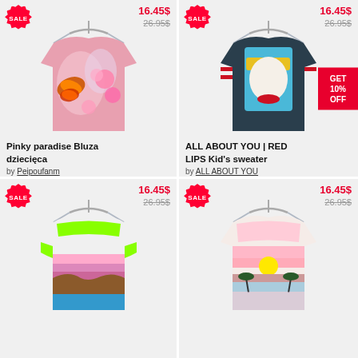[Figure (photo): Pink floral butterfly print kid's sweater on hanger]
16.45$
26.95$
Pinky paradise Bluza dziecięca
by Peipoufanm
[Figure (photo): Pop art face with sunglasses kid's sweater on hanger, ALL ABOUT YOU RED LIPS]
16.45$
26.95$
ALL ABOUT YOU | RED LIPS Kid's sweater
by ALL ABOUT YOU
GET 10% OFF
[Figure (photo): Neon green/colorful landscape coastal cliffs kid's sweater on hanger]
16.45$
26.95$
[Figure (photo): Pastel sunset tropical palm trees kid's sweater on hanger]
16.45$
26.95$